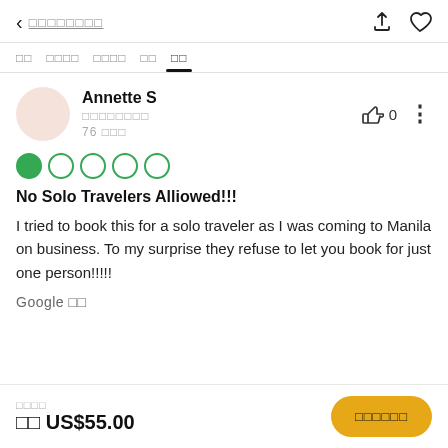< ████████
██  ████  ████  ██  ██
Annette S
████████
76 ███
[Figure (other): 1 out of 5 star rating: one filled green circle followed by four empty green circle outlines]
No Solo Travelers Alliowed!!!
I tried to book this for a solo traveler as I was coming to Manila on business. To my surprise they refuse to let you book for just one person!!!!!
Google ██
████
██ US$55.00  |  ██████